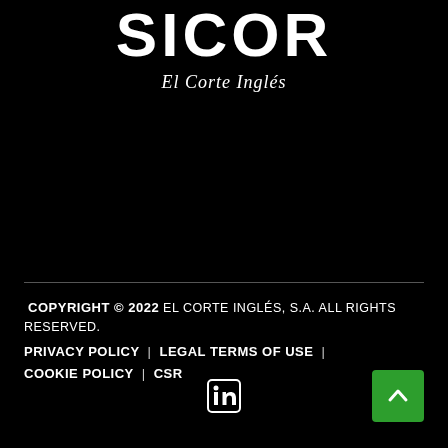[Figure (logo): SICOR logo in large white bold uppercase letters on black background, with El Corte Inglés cursive script logo below]
COPYRIGHT © 2022 EL CORTE INGLÉS, S.A. ALL RIGHTS RESERVED. PRIVACY POLICY | LEGAL TERMS OF USE | COOKIE POLICY | CSR
[Figure (logo): LinkedIn icon in white on black background]
[Figure (other): Back to top button — green square with white upward chevron arrow]